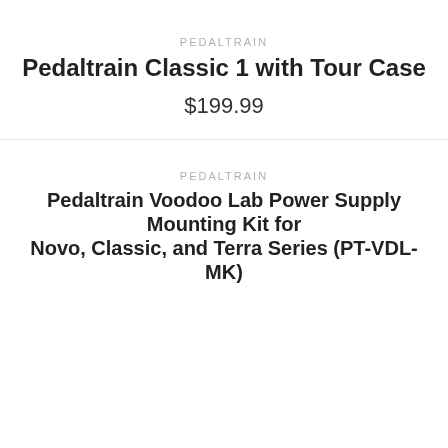PEDALTRAIN
Pedaltrain Classic 1 with Tour Case
$199.99
PEDALTRAIN
Pedaltrain Voodoo Lab Power Supply Mounting Kit for Novo, Classic, and Terra Series (PT-VDL-MK)